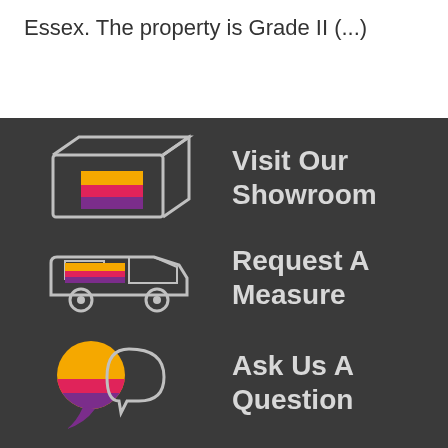Essex. The property is Grade II (...)
[Figure (illustration): Icon of a box/package with coloured stripes (yellow, pink/red, purple) on the front face, outlined in light grey on dark background]
Visit Our Showroom
[Figure (illustration): Icon of a delivery van with coloured stripes (yellow, pink/red, purple) on the side, outlined in light grey on dark background]
Request A Measure
[Figure (illustration): Two speech bubble icons: a filled one with gradient colours (yellow, pink, purple) and an outlined one in light grey, on dark background]
Ask Us A Question